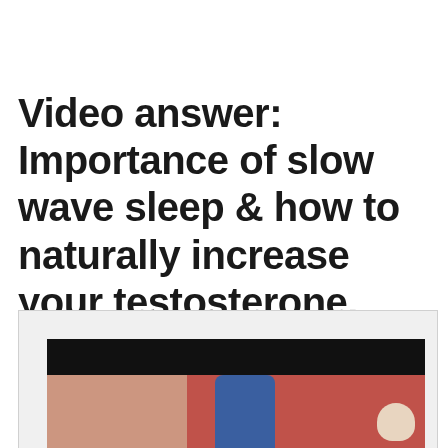Video answer: Importance of slow wave sleep & how to naturally increase your testosterone.
[Figure (screenshot): A video thumbnail/screenshot showing a person in a blue top sitting on a dark red/maroon couch or sofa, with a beige wall in the background. The top portion of the video frame is a dark/black letterbox bar.]